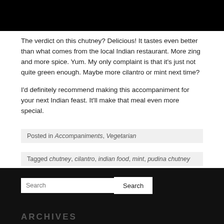[Figure (other): Black header bar at top of page]
The verdict on this chutney? Delicious! It tastes even better than what comes from the local Indian restaurant. More zing and more spice. Yum. My only complaint is that it’s just not quite green enough. Maybe more cilantro or mint next time?
I’d definitely recommend making this accompaniment for your next Indian feast. It’ll make that meal even more special.
Posted in Accompaniments, Vegetarian
Tagged chutney, cilantro, indian food, mint, pudina chutney
[Figure (other): Black footer bar with search field and Archives heading]